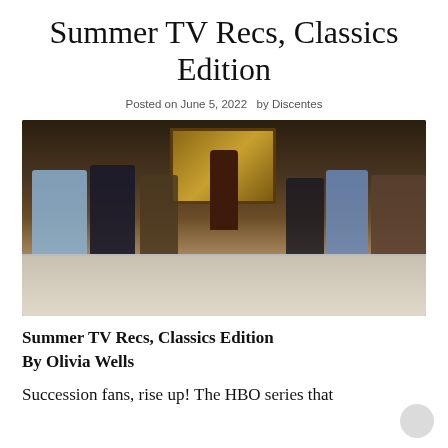Summer TV Recs, Classics Edition
Posted on June 5, 2022  by Discentes
[Figure (photo): Promotional cast photo for the HBO series Succession, showing eight cast members seated around a long marble dining table with a painting hanging on the wall behind them, lit in moody dark tones.]
Summer TV Recs, Classics Edition
By Olivia Wells
Succession fans, rise up! The HBO series that